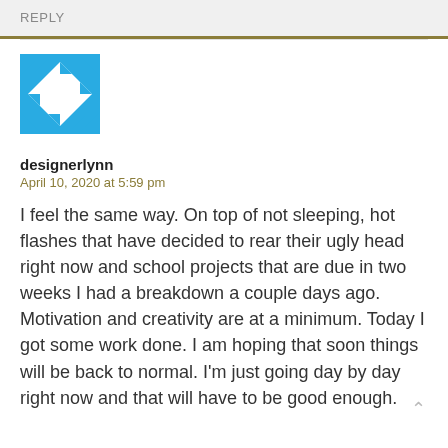REPLY
[Figure (illustration): Blue and white geometric avatar icon for user designerlynn]
designerlynn
April 10, 2020 at 5:59 pm
I feel the same way. On top of not sleeping, hot flashes that have decided to rear their ugly head right now and school projects that are due in two weeks I had a breakdown a couple days ago. Motivation and creativity are at a minimum. Today I got some work done. I am hoping that soon things will be back to normal. I'm just going day by day right now and that will have to be good enough.